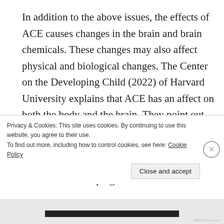In addition to the above issues, the effects of ACE causes changes in the brain and brain chemicals. These changes may also affect physical and biological changes. The Center on the Developing Child (2022) of Harvard University explains that ACE has an affect on both the body and the brain. They point out that the excesses of “toxic stress” on the brain causes long lasting effects. They go on to posit that this toxic stress affects, not only the child’s developing brain but their
Privacy & Cookies: This site uses cookies. By continuing to use this website, you agree to their use.
To find out more, including how to control cookies, see here: Cookie Policy
Close and accept